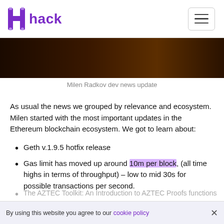hack
[Figure (photo): Dark brown/amber toned photo image strip, partially visible]
Milen Radkov dev news update
As usual the news we grouped by relevance and ecosystem. Milen started with the most important updates in the Ethereum blockchain ecosystem. We got to learn about:
Geth v.1.9.5 hotfix release
Gas limit has moved up around 10m per block, (all time highs in terms of throughput) – low to mid 30s for possible transactions per second.
The AZTEC Toolkit: An Introduction to AZTEC Proofs functions
By using this website you agree to our cookie policy ×